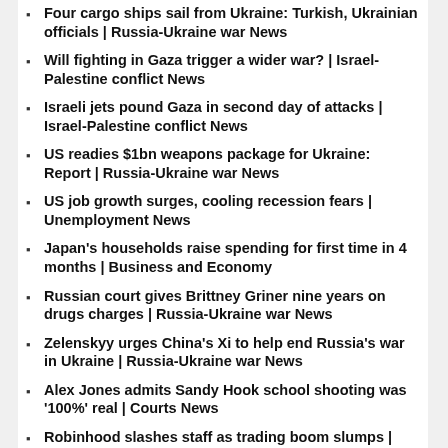Four cargo ships sail from Ukraine: Turkish, Ukrainian officials | Russia-Ukraine war News
Will fighting in Gaza trigger a wider war? | Israel-Palestine conflict News
Israeli jets pound Gaza in second day of attacks | Israel-Palestine conflict News
US readies $1bn weapons package for Ukraine: Report | Russia-Ukraine war News
US job growth surges, cooling recession fears | Unemployment News
Japan's households raise spending for first time in 4 months | Business and Economy
Russian court gives Brittney Griner nine years on drugs charges | Russia-Ukraine war News
Zelenskyy urges China's Xi to help end Russia's war in Ukraine | Russia-Ukraine war News
Alex Jones admits Sandy Hook school shooting was '100%' real | Courts News
Robinhood slashes staff as trading boom slumps | Business and Economy News
EU, US envoys urge Ethiopia to restore services in